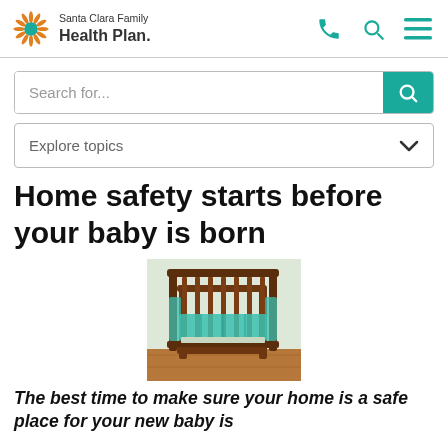Santa Clara Family Health Plan.
Search for...
Explore topics
Home safety starts before your baby is born
[Figure (photo): A wooden baby crib with teal/turquoise crib bumper pads, sitting on a wooden floor]
The best time to make sure your home is a safe place for your new baby is